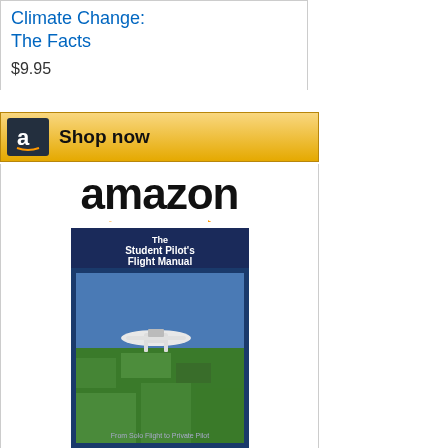Climate Change: The Facts
$9.95
[Figure (logo): Shop now button with Amazon 'a' logo on gold background]
[Figure (logo): Amazon logo with orange smile arrow]
[Figure (photo): Book cover: The Student Pilot's Flight Manual, showing small airplane flying over landscape]
The Student Pilot's Flight...
$18.16
[Figure (logo): Shop now button with Amazon 'a' logo on gold background]
Oil Prices
[Figure (line-chart): WTI Crude Oil price chart showing $90.50 with +2.64% change, line chart with value around 100 on y-axis]